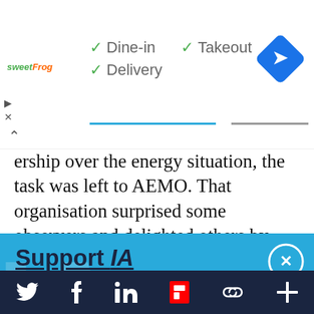[Figure (screenshot): Ad banner for sweetFrog with Dine-in, Takeout, Delivery checkmarks and navigation icon]
ership over the energy situation, the task was left to AEMO. That organisation surprised some observers and delighted others by recruiting Audrey Zibelman from New York to
Support IA
Subscribe to IA and investigate Australia today.
Close   Subscribe   Donate
[Figure (screenshot): Social media footer bar with Twitter, Facebook, LinkedIn, Flipboard, chain/link, and plus icons]